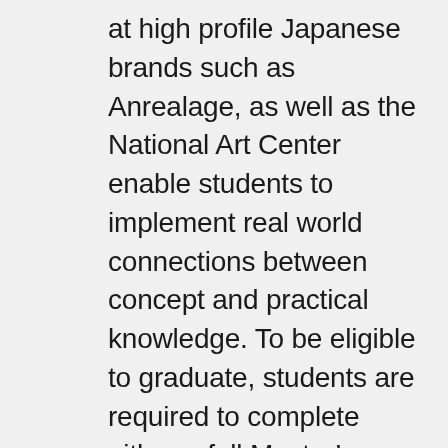at high profile Japanese brands such as Anrealage, as well as the National Art Center enable students to implement real world connections between concept and practical knowledge. To be eligible to graduate, students are required to complete either a full Master's thesis, or a collection. In 2016, GFC launched a double degree program with the prestigious Parisian design school École nationale supérieure des Arts Décoratifs (ENSAD). Students enrolled in this program will have the opportunity to